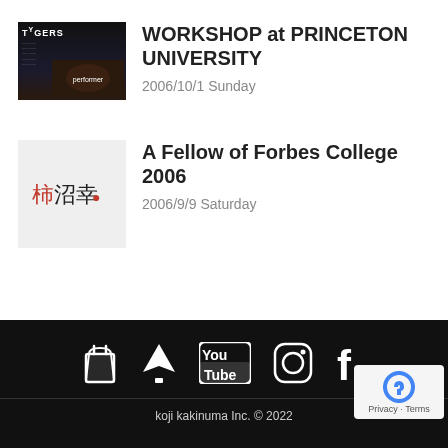[Figure (photo): Thumbnail image for WORKSHOP at PRINCETON UNIVERSITY showing TYGERS poster with performers]
WORKSHOP at PRINCETON UNIVERSITY
2006/10/1 Sunday
[Figure (illustration): Thumbnail with Japanese calligraphy characters in red and black]
A Fellow of Forbes College 2006
2006/9/9 Saturday
koji kakinuma Inc. © 2022